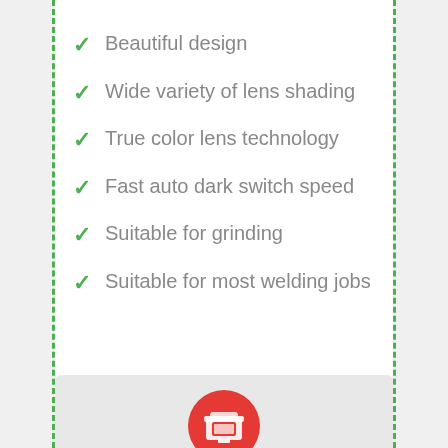Beautiful design
Wide variety of lens shading
True color lens technology
Fast auto dark switch speed
Suitable for grinding
Suitable for most welding jobs
[Figure (illustration): Red circle with a welding helmet icon at the bottom of the page]